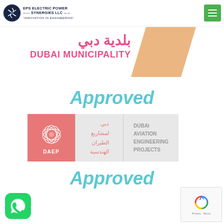EPS Electric Power Synergies LLC — Innovation in Engineering
[Figure (logo): Dubai Municipality logo with Arabic text and orange parallelogram shape]
Approved
[Figure (logo): DAEP - Dubai Aviation Engineering Projects logo with Arabic and English text]
Approved
[Figure (logo): WhatsApp button icon]
[Figure (other): Google reCAPTCHA widget with Privacy - Terms text]